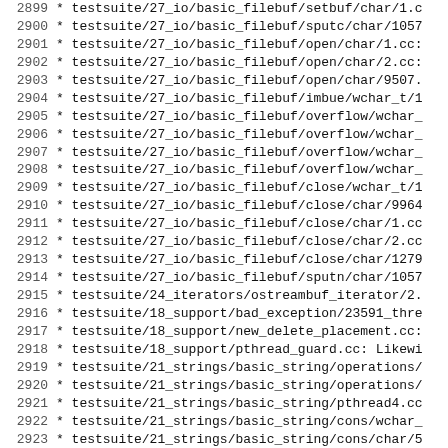2899   * testsuite/27_io/basic_filebuf/setbuf/char/1.c
2900   * testsuite/27_io/basic_filebuf/sputc/char/1057
2901   * testsuite/27_io/basic_filebuf/open/char/1.cc:
2902   * testsuite/27_io/basic_filebuf/open/char/2.cc:
2903   * testsuite/27_io/basic_filebuf/open/char/9507.
2904   * testsuite/27_io/basic_filebuf/imbue/wchar_t/1
2905   * testsuite/27_io/basic_filebuf/overflow/wchar
2906   * testsuite/27_io/basic_filebuf/overflow/wchar
2907   * testsuite/27_io/basic_filebuf/overflow/wchar
2908   * testsuite/27_io/basic_filebuf/overflow/wchar
2909   * testsuite/27_io/basic_filebuf/close/wchar_t/1
2910   * testsuite/27_io/basic_filebuf/close/char/9964
2911   * testsuite/27_io/basic_filebuf/close/char/1.cc
2912   * testsuite/27_io/basic_filebuf/close/char/2.cc
2913   * testsuite/27_io/basic_filebuf/close/char/1279
2914   * testsuite/27_io/basic_filebuf/sputn/char/1057
2915   * testsuite/24_iterators/ostreambuf_iterator/2.
2916   * testsuite/18_support/bad_exception/23591_thre
2917   * testsuite/18_support/new_delete_placement.cc:
2918   * testsuite/18_support/pthread_guard.cc: Likewise
2919   * testsuite/21_strings/basic_string/operations/
2920   * testsuite/21_strings/basic_string/operations/
2921   * testsuite/21_strings/basic_string/pthread4.cc
2922   * testsuite/21_strings/basic_string/cons/wchar_
2923   * testsuite/21_strings/basic_string/cons/char/5
2924   * testsuite/30_threads/timed_mutex/cons/assign_
2925   * testsuite/30_threads/timed_mutex/cons/copy_ne
2926   * testsuite/30_threads/recursive_mutex/cons/ass
2927   * testsuite/30_threads/recursive_mutex/cons/cop
2928   * testsuite/30_threads/mutex/cons/assign_neg.cc
2929   * testsuite/30_threads/mutex/cons/copy_neg.cc:
2930   * testsuite/30_threads/thread/cons/assign_neg.c